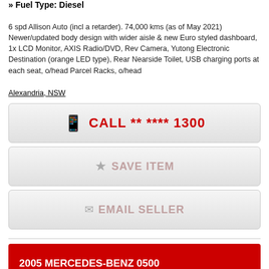» Fuel Type: Diesel
6 spd Allison Auto (incl a retarder). 74,000 kms (as of May 2021) Newer/updated body design with wider aisle & new Euro styled dashboard, 1x LCD Monitor, AXIS Radio/DVD, Rev Camera, Yutong Electronic Destination (orange LED type), Rear Nearside Toilet, USB charging ports at each seat, o/head Parcel Racks, o/head
Alexandria, NSW
CALL ** **** 1300
SAVE ITEM
EMAIL SELLER
2005 MERCEDES-BENZ 0500
$77,000